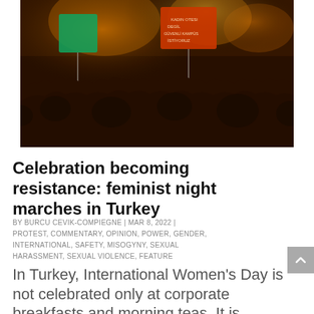[Figure (photo): Night photo of a large crowd of protesters wearing masks, holding protest signs with Turkish text, taken in Turkey. The scene is lit with warm amber/orange street lights against a dark night sky.]
Celebration becoming resistance: feminist night marches in Turkey
BY BURCU CEVIK-COMPIEGNE | MAR 8, 2022 | PROTEST, COMMENTARY, OPINION, POWER, GENDER, INTERNATIONAL, SAFETY, MISOGYNY, SEXUAL HARASSMENT, SEXUAL VIOLENCE, FEATURE
In Turkey, International Women's Day is not celebrated only at corporate breakfasts and morning teas. It is